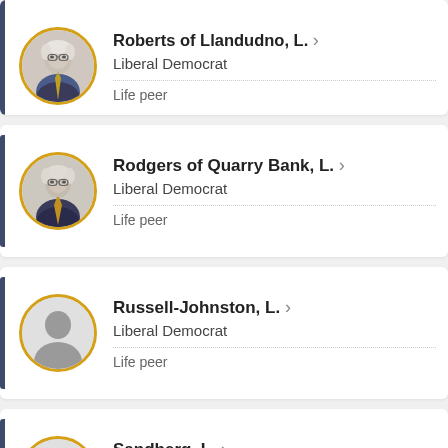Roberts of Llandudno, L. — Liberal Democrat — Life peer
Rodgers of Quarry Bank, L. — Liberal Democrat — Life peer
Russell-Johnston, L. — Liberal Democrat — Life peer
Sandberg, L. — Liberal Democrat — Life peer